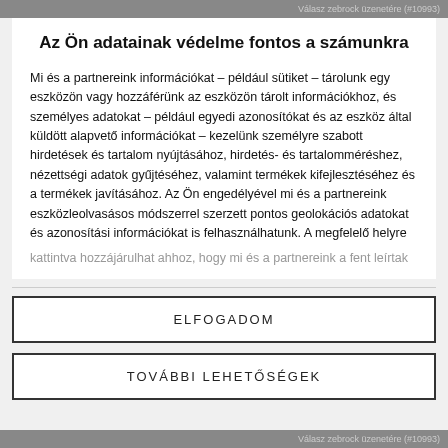Válasz zebrock üzenetére (#10993)
Az Ön adatainak védelme fontos a számunkra
Mi és a partnereink információkat – például sütiket – tárolunk egy eszközön vagy hozzáférünk az eszközön tárolt információkhoz, és személyes adatokat – például egyedi azonosítókat és az eszköz által küldött alapvető információkat – kezelünk személyre szabott hirdetések és tartalom nyújtásához, hirdetés- és tartalomméréshez, nézettségi adatok gyűjtéséhez, valamint termékek kifejlesztéséhez és a termékek javításához. Az Ön engedélyével mi és a partnereink eszközleolvasásos módszerrel szerzett pontos geolokációs adatokat és azonosítási információkat is felhasználhatunk. A megfelelő helyre
kattintva hozzájárulhat ahhoz, hogy mi és a partnereink a fent leírtak
ELFOGADOM
TOVÁBBI LEHETŐSÉGEK
Válasz zebrock üzenetére (#10993)